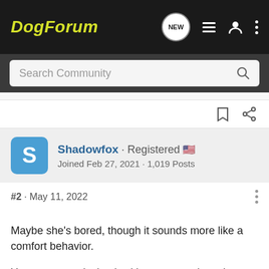DogForum
Search Community
Shadowfox · Registered
Joined Feb 27, 2021 · 1,019 Posts
#2 · May 11, 2022
Maybe she's bored, though it sounds more like a comfort behavior.

You can try replacing it with an appropriate chew, though I doubt that will work. Most dogs benefit from more mental stimulation. Adding new nose work games like an Easter egg hunt could be fun all around.